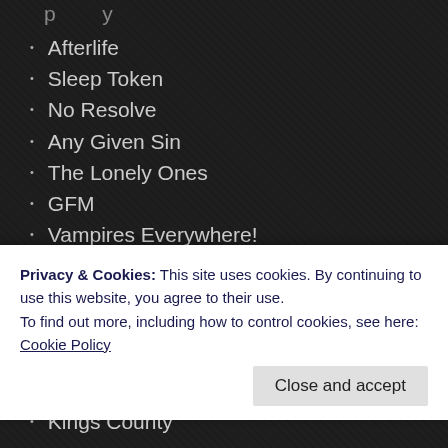Afterlife
Sleep Token
No Resolve
Any Given Sin
The Lonely Ones
GFM
Vampires Everywhere!
Get The Shot
Silvertung
Vangogo
Burden Of The Sky
Dying Oath
Kings County
Privacy & Cookies: This site uses cookies. By continuing to use this website, you agree to their use.
To find out more, including how to control cookies, see here: Cookie Policy
Close and accept